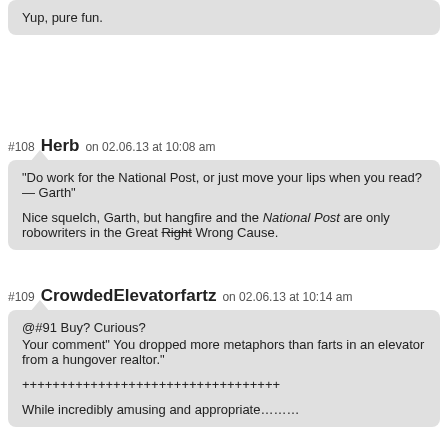Yup, pure fun.
#108 Herb on 02.06.13 at 10:08 am
“Do work for the National Post, or just move your lips when you read? — Garth”

Nice squelch, Garth, but hangfire and the National Post are only robowriters in the Great Right Wrong Cause.
#109 CrowdedElevatorfartz on 02.06.13 at 10:14 am
@#91 Buy? Curious?
Your comment" You dropped more metaphors than farts in an elevator from a hungover realtor."

++++++++++++++++++++++++++++++++++

While incredibly amusing and appropriate…….